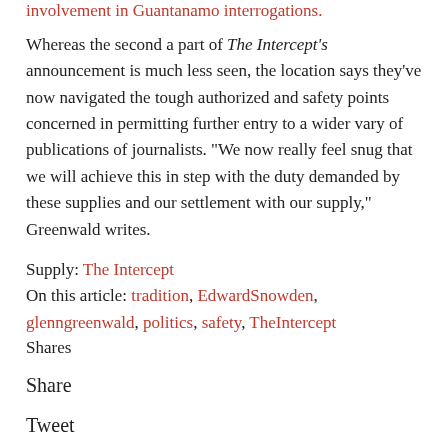involvement in Guantanamo interrogations.
Whereas the second a part of The Intercept's announcement is much less seen, the location says they've now navigated the tough authorized and safety points concerned in permitting further entry to a wider vary of publications of journalists. “We now really feel snug that we will achieve this in step with the duty demanded by these supplies and our settlement with our supply,” Greenwald writes.
Supply: The Intercept
On this article: tradition, EdwardSnowden, glenngreenwald, politics, safety, TheIntercept
Shares
Share
Tweet
Share
Save